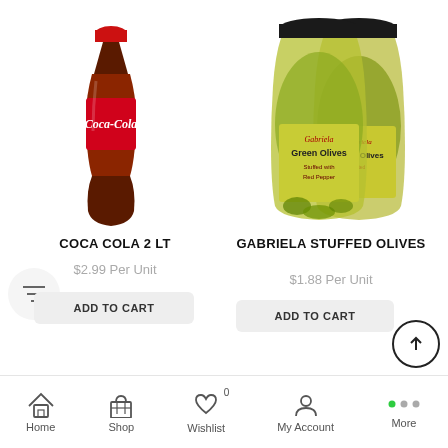[Figure (photo): Coca-Cola 2L bottle product image]
COCA COLA 2 LT
$2.99 Per Unit
ADD TO CART
[Figure (photo): Gabriela Stuffed Olives jars product image]
GABRIELA STUFFED OLIVES
$1.88 Per Unit
ADD TO CART
Home  Shop  Wishlist  My Account  More